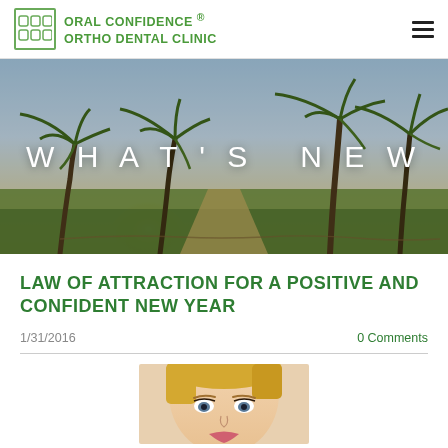ORAL CONFIDENCE ® ORTHO DENTAL CLINIC
[Figure (photo): Hero banner photo of a tropical beach path with palm trees at sunset, with overlaid text 'WHAT'S NEW']
LAW OF ATTRACTION FOR A POSITIVE AND CONFIDENT NEW YEAR
1/31/2016	0 Comments
[Figure (photo): Partial photo of a blonde woman's face, cropped at the bottom of the page]